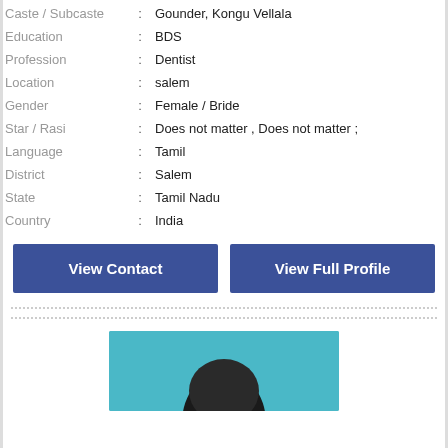| Caste / Subcaste | : | Gounder, Kongu Vellala |
| Education | : | BDS |
| Profession | : | Dentist |
| Location | : | salem |
| Gender | : | Female / Bride |
| Star / Rasi | : | Does not matter , Does not matter ; |
| Language | : | Tamil |
| District | : | Salem |
| State | : | Tamil Nadu |
| Country | : | India |
View Contact
View Full Profile
[Figure (photo): Partial view of a person's profile photo with a blue background, showing the top of their head and dark hair.]